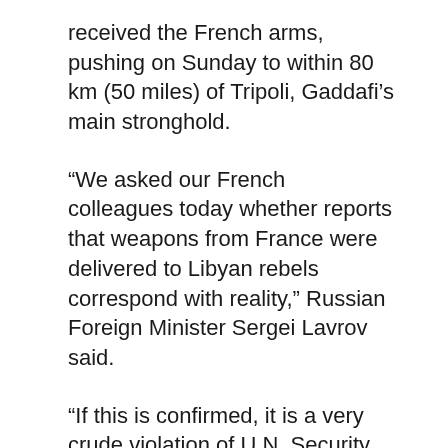received the French arms, pushing on Sunday to within 80 km (50 miles) of Tripoli, Gaddafi’s main stronghold.
“We asked our French colleagues today whether reports that weapons from France were delivered to Libyan rebels correspond with reality,” Russian Foreign Minister Sergei Lavrov said.
“If this is confirmed, it is a very crude violation of U.N. Security Council Resolution 1970,” he said. That resolution, adopted in February, imposed a comprehensive arms embargo on Libya.
Paris said on Wednesday it believed it had not violated the U.N. embargo because the